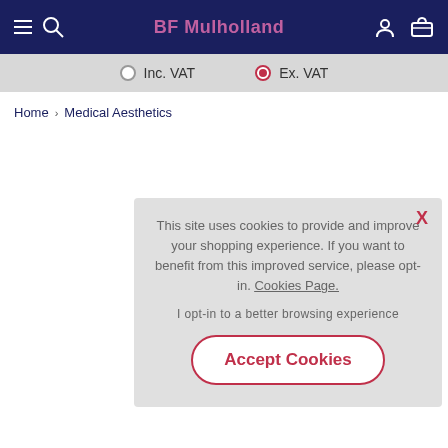BF Mulholland
Inc. VAT  Ex. VAT
Home > Medical Aesthetics
This site uses cookies to provide and improve your shopping experience. If you want to benefit from this improved service, please opt-in. Cookies Page.
I opt-in to a better browsing experience
Accept Cookies